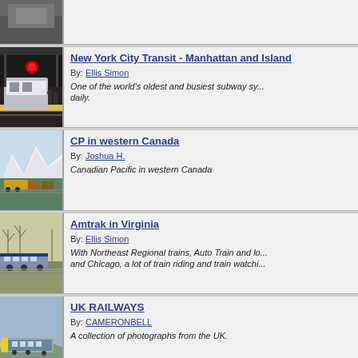[Figure (photo): Partial train photo at top of page (cropped)]
[Figure (photo): New York City subway train at station platform]
New York City Transit - Manhattan and Island
By: Ellis Simon
One of the world's oldest and busiest subway sy... daily.
[Figure (photo): CP freight train with mountains in background]
CP in western Canada
By: Joshua H.
Canadian Pacific in western Canada
[Figure (photo): Amtrak train on tracks with bare trees]
Amtrak in Virginia
By: Ellis Simon
With Northeast Regional trains, Auto Train and lo... and Chicago, a lot of train riding and train watch...
[Figure (photo): UK high-speed train on curved tracks]
UK RAILWAYS
By: CAMERONBELL
A collection of photographs from the UK.
[Figure (photo): Partial street runners train photo at bottom]
Street Runners
By: John Westfield